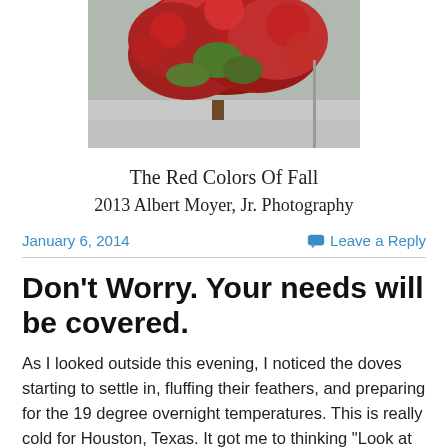[Figure (photo): A tree with dense red foliage, photographed outdoors. Sky and surroundings visible in background.]
The Red Colors Of Fall
2013 Albert Moyer, Jr. Photography
January 6, 2014
Leave a Reply
Don't Worry. Your needs will be covered.
As I looked outside this evening, I noticed the doves starting to settle in, fluffing their feathers, and preparing for the 19 degree overnight temperatures. This is really cold for Houston, Texas. It got me to thinking "Look at them!